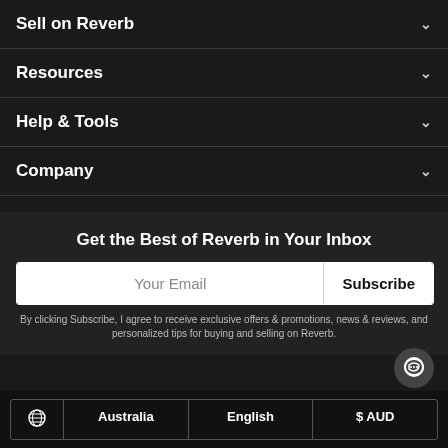Sell on Reverb
Resources
Help & Tools
Company
Get the Best of Reverb in Your Inbox
Your Email
Subscribe
By clicking Subscribe, I agree to receive exclusive offers & promotions, news & reviews, and personalized tips for buying and selling on Reverb.
Australia  English  $ AUD